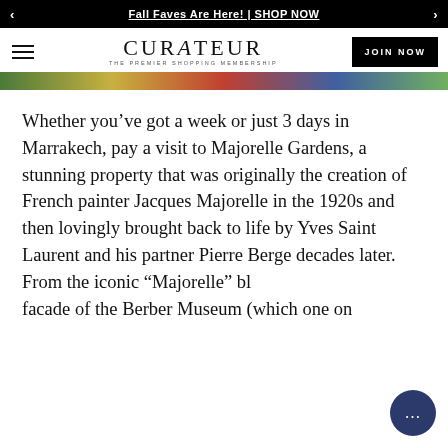Fall Faves Are Here! | SHOP NOW
[Figure (logo): CURATEUR - THE PREMIER SHOPPING MEMBERSHIP logo with hamburger menu and JOIN NOW button]
[Figure (photo): Colorful image strip at top of article, showing partial garden/colorful scene]
Whether you've got a week or just 3 days in Marrakech, pay a visit to Majorelle Gardens, a stunning property that was originally the creation of French painter Jacques Majorelle in the 1920s and then lovingly brought back to life by Yves Saint Laurent and his partner Pierre Berge decades later. From the iconic “Majorelle” bl… facade of the Berber Museum (which one on...